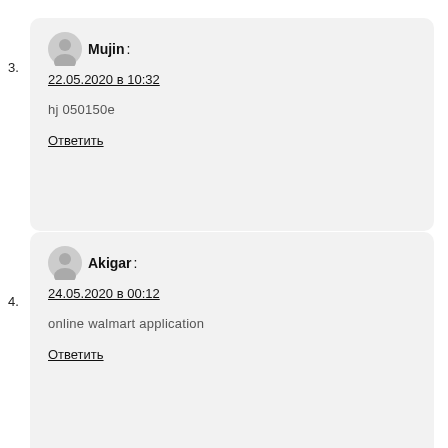3. Mujin : 22.05.2020 в 10:32 hj 050150e Ответить
4. Akigar : 24.05.2020 в 00:12 online walmart application Ответить